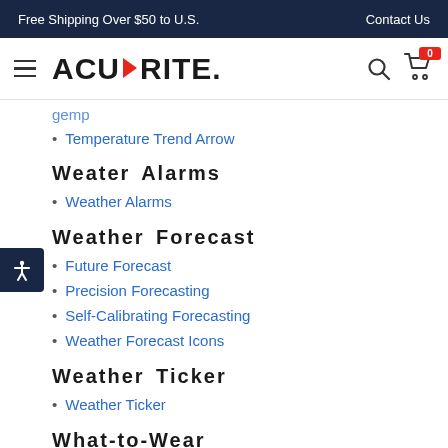Free Shipping Over $50 to U.S.    Contact Us
[Figure (logo): AcuRite logo with hamburger menu, search icon, and cart with badge 0]
Temperature Trend Arrow
Weater Alarms
Weather Alarms
Weather Forecast
Future Forecast
Precision Forecasting
Self-Calibrating Forecasting
Weather Forecast Icons
Weather Ticker
Weather Ticker
What-to-Wear
What-to-Wear